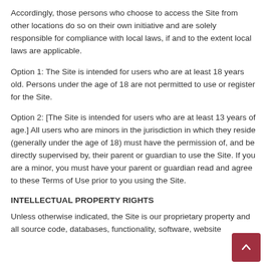Accordingly, those persons who choose to access the Site from other locations do so on their own initiative and are solely responsible for compliance with local laws, if and to the extent local laws are applicable.
Option 1: The Site is intended for users who are at least 18 years old. Persons under the age of 18 are not permitted to use or register for the Site.
Option 2: [The Site is intended for users who are at least 13 years of age.] All users who are minors in the jurisdiction in which they reside (generally under the age of 18) must have the permission of, and be directly supervised by, their parent or guardian to use the Site. If you are a minor, you must have your parent or guardian read and agree to these Terms of Use prior to you using the Site.
INTELLECTUAL PROPERTY RIGHTS
Unless otherwise indicated, the Site is our proprietary property and all source code, databases, functionality, software, website